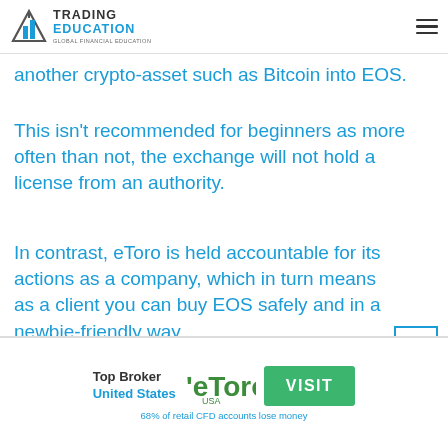Trading Education — Global Financial Education
another crypto-asset such as Bitcoin into EOS.
This isn't recommended for beginners as more often than not, the exchange will not hold a license from an authority.
In contrast, eToro is held accountable for its actions as a company, which in turn means as a client you can buy EOS safely and in a newbie-friendly way.
Not only is the broker registered in the US with
[Figure (logo): eToro USA logo with green visit button and disclaimer: 68% of retail CFD accounts lose money. Top Broker United States banner.]